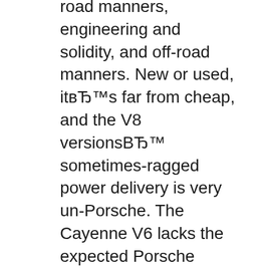road manners, engineering and solidity, and off-road manners. New or used, itвЂ™s far from cheap, and the V8 versionвЂ™ sometimes-ragged power delivery is very un-Porsche. The Cayenne V6 lacks the expected Porsche punch. View all 197 consumer vehicle reviews for the Used 2004 Porsche Cayenne SUV on Edmunds, or submit your own review of the 2004 Cayenne.
The 2019 Porsche Cayenne combines the utility of an SUV with sporting driving experience expected of a Porsche. Prices are high and get higher still with the long list of optional equipment, but for many shoppers only a Porsche Cayenne will do. Read 2004